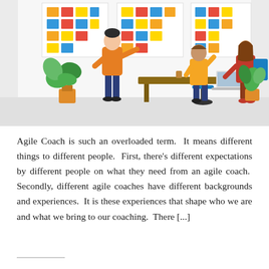[Figure (illustration): Flat-style illustration of an agile team meeting. A man in an orange shirt stands pointing at a wall of colorful sticky notes (arranged in columns with red, blue, yellow, orange squares). Two other people sit at a desk: one in a yellow shirt with a blue office chair, another woman in red with a laptop. Green potted plants flank the scene. The background is light grey.]
Agile Coach is such an overloaded term.  It means different things to different people.  First, there's different expectations by different people on what they need from an agile coach.  Secondly, different agile coaches have different backgrounds and experiences.  It is these experiences that shape who we are and what we bring to our coaching.  There [...]